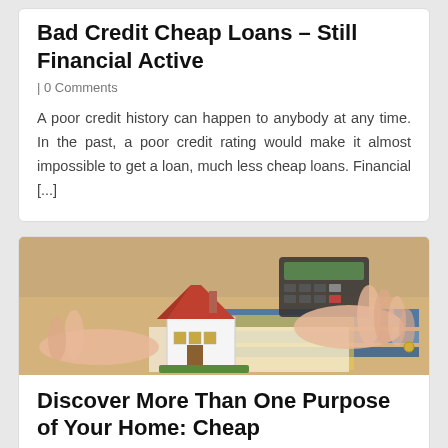Bad Credit Cheap Loans – Still Financial Active
| 0 Comments
A poor credit history can happen to anybody at any time. In the past, a poor credit rating would make it almost impossible to get a loan, much less cheap loans. Financial [...]
[Figure (photo): A small model house with a red roof sits on financial documents; hands operate a calculator in the background.]
Discover More Than One Purpose of Your Home: Cheap